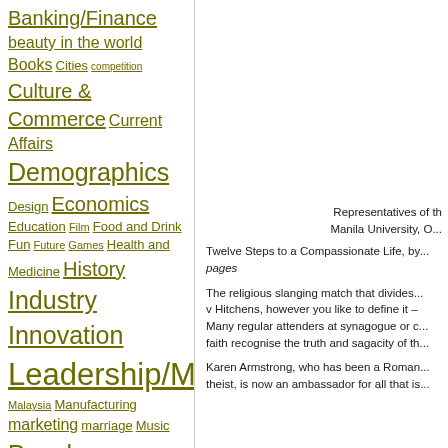Banking/Finance beauty in the world Books Cities competition Culture & Commerce Current Affairs Demographics Design Economics Education Film Food and Drink Fun Future Games Health and Medicine History Industry Innovation Leadership/Mgmt Malaysia Manufacturing marketing marriage Music People Psychology Public Policy Religion Science Search Singapore Sports Stats & Math Strategy Television Travel U - Academic U - Endowment U - House U - IP U - Strategy U - Tech Web/Tech Weblogs
Recent Posts
Stan Lai - The Village
Representatives of th... Manila University, O...
Twelve Steps to a Compassionate Life, by... pages
The religious slanging match that divides... v Hitchens, however you like to define it – Many regular attenders at synagogue or c... faith recognise the truth and sagacity of th...
Karen Armstrong, who has been a Roman... theist, is now an ambassador for all that is...